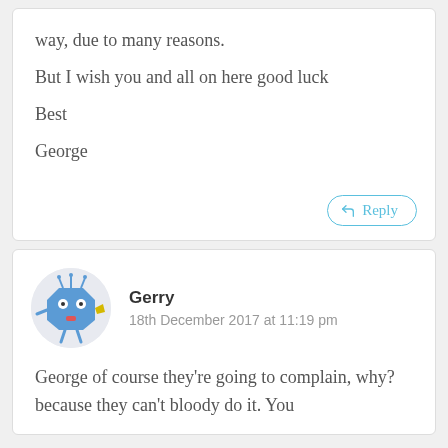way, due to many reasons.
But I wish you and all on here good luck
Best
George
Gerry
18th December 2017 at 11:19 pm
George of course they're going to complain, why? because they can't bloody do it. You